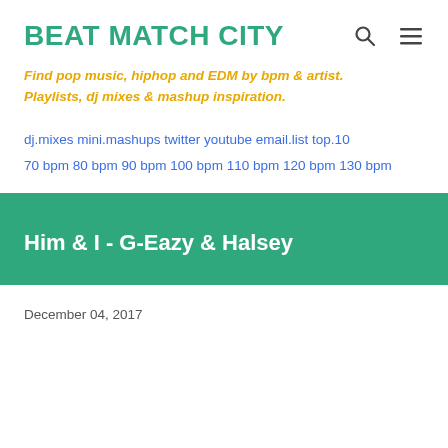BEAT MATCH CITY
Find pop music, hiphop and EDM by bpm & artist. Playlists, dj mixes & mashup inspiration.
dj.mixes mini.mashups twitter youtube email.list top.10 70 bpm 80 bpm 90 bpm 100 bpm 110 bpm 120 bpm 130 bpm
Him & I - G-Eazy & Halsey
December 04, 2017